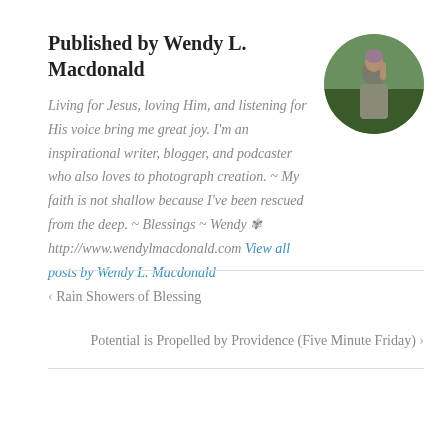Published by Wendy L. Macdonald
[Figure (photo): Circular avatar photo of Wendy L. Macdonald, a woman standing outdoors among green foliage, wearing a grey top.]
Living for Jesus, loving Him, and listening for His voice bring me great joy. I'm an inspirational writer, blogger, and podcaster who also loves to photograph creation. ~ My faith is not shallow because I've been rescued from the deep. ~ Blessings ~ Wendy ✾ http://www.wendylmacdonald.com View all posts by Wendy L. Macdonald
‹ Rain Showers of Blessing
Potential is Propelled by Providence (Five Minute Friday) ›